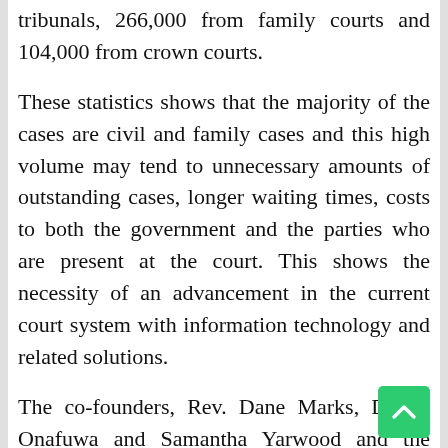tribunals, 266,000 from family courts and 104,000 from crown courts.
These statistics shows that the majority of the cases are civil and family cases and this high volume may tend to unnecessary amounts of outstanding cases, longer waiting times, costs to both the government and the parties who are present at the court. This shows the necessity of an advancement in the current court system with information technology and related solutions.
The co-founders, Rev. Dane Marks, Daniel Onafuwa and Samantha Yarwood and the genius and passionate team of Law Students and Graduates have come